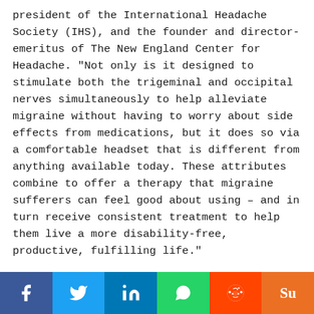president of the International Headache Society (IHS), and the founder and director-emeritus of The New England Center for Headache. "Not only is it designed to stimulate both the trigeminal and occipital nerves simultaneously to help alleviate migraine without having to worry about side effects from medications, but it does so via a comfortable headset that is different from anything available today. These attributes combine to offer a therapy that migraine sufferers can feel good about using – and in turn receive consistent treatment to help them live a more disability-free, productive, fulfilling life."
Some info on the study that led to the clearance, according to Neurolieff: